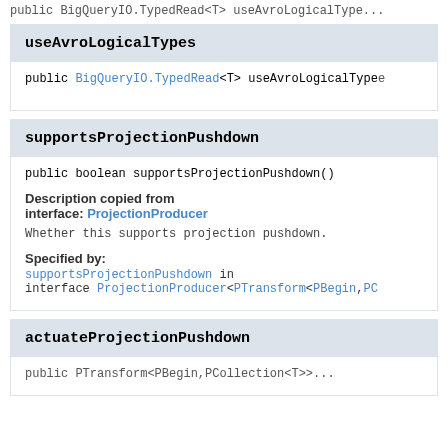public BigQueryIO.TypedRead<T> useAvroLogicalType...
useAvroLogicalTypes
public BigQueryIO.TypedRead<T> useAvroLogicalType...
supportsProjectionPushdown
public boolean supportsProjectionPushdown()
Description copied from interface: ProjectionProducer
Whether this supports projection pushdown.
Specified by:
supportsProjectionPushdown in interface ProjectionProducer<PTransform<PBegin,PC...
actuateProjectionPushdown
public PTransform<PBegin,PCollection<T>>...